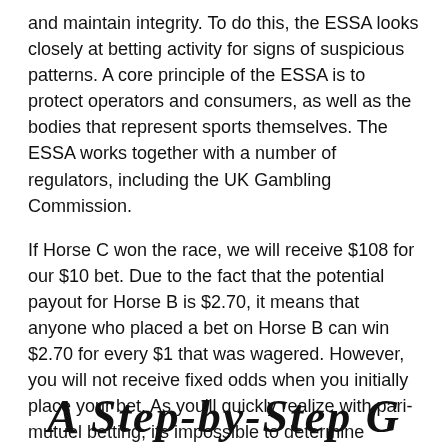and maintain integrity. To do this, the ESSA looks closely at betting activity for signs of suspicious patterns. A core principle of the ESSA is to protect operators and consumers, as well as the bodies that represent sports themselves. The ESSA works together with a number of regulators, including the UK Gambling Commission.
If Horse C won the race, we will receive $108 for our $10 bet. Due to the fact that the potential payout for Horse B is $2.70, it means that anyone who placed a bet on Horse B can win $2.70 for every $1 that was wagered. However, you will not receive fixed odds when you initially place your bet. As you'll quickly realize with pari-mutuel betting, its impossible to determine whether a selection provides any value when you initially place your bet.
[Figure (illustration): Decorative stylized italic bold text at the bottom of the page, partially cut off, appearing to be a section header or decorative element.]